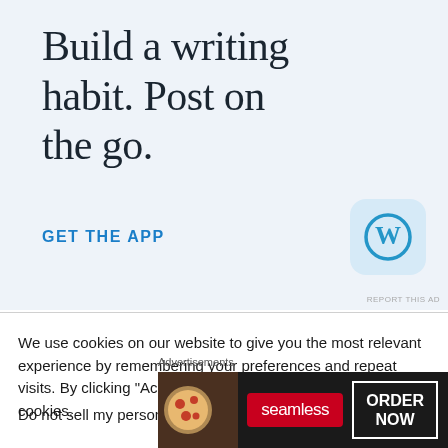[Figure (screenshot): WordPress app advertisement banner with light blue background. Large serif text reads 'Build a writing habit. Post on the go.' with a blue 'GET THE APP' call-to-action link and a rounded square WordPress logo icon on the right.]
REPORT THIS AD
We use cookies on our website to give you the most relevant experience by remembering your preferences and repeat visits. By clicking “Accept”, you consent to the use of ALL the cookies.
Do not sell my personal information
Advertisements
[Figure (screenshot): Seamless food delivery advertisement. Dark background with pizza image on left, red 'seamless' logo in center, and white-bordered 'ORDER NOW' button on right.]